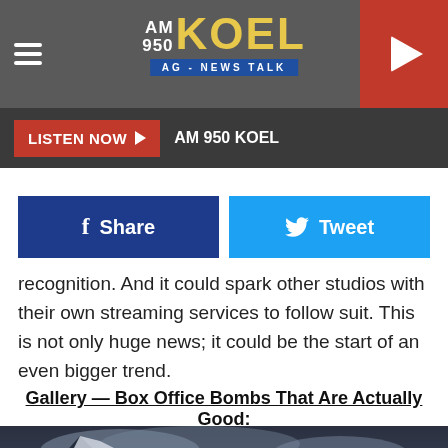AM 950 KOEL AG - NEWS TALK
LISTEN NOW AM 950 KOEL
[Figure (screenshot): Share and Tweet social media buttons]
recognition. And it could spark other studios with their own streaming services to follow suit. This is not only huge news; it could be the start of an even bigger trend.
Gallery — Box Office Bombs That Are Actually Good:
[Figure (photo): Mountain landscape with snow-capped peaks, dark cloudy sky, and a lake or body of water in the foreground]